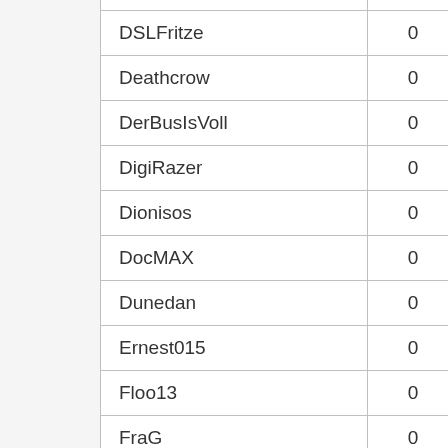|  | Name | Col1 | Col2 | Col3 |
| --- | --- | --- | --- | --- |
|  | DSLFritze | 0 | 1 | 2 |
|  | Deathcrow | 0 | 1 | 0 |
|  | DerBusIsVoll | 0 | 1 | 0 |
|  | DigiRazer | 0 | 1 | 1 |
|  | Dionisos | 0 | 1 | 0 |
|  | DocMAX | 0 | 1 | 3 |
|  | Dunedan | 0 | 1 | 0 |
|  | Ernest015 | 0 | 1 | 0 |
|  | Floo13 | 0 | 1 | 0 |
|  | FraG | 0 | 1 | 1 |